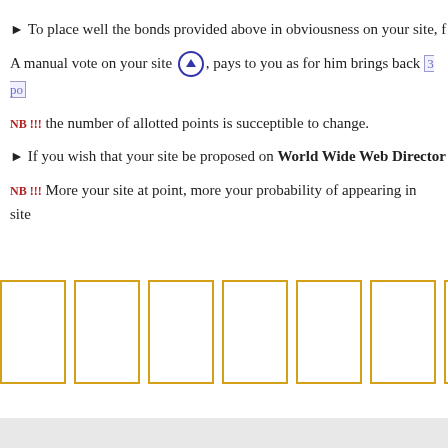To place well the bonds provided above in obviousness on your site, f
A manual vote on your site ↑, pays to you as for him brings back 3 po
NB !!! the number of allotted points is succeptible to change.
If you wish that your site be proposed on World Wide Web Director
NB !!! More your site at point, more your probability of appearing in site
[Figure (other): Row of 7 yellow-bordered empty square boxes]